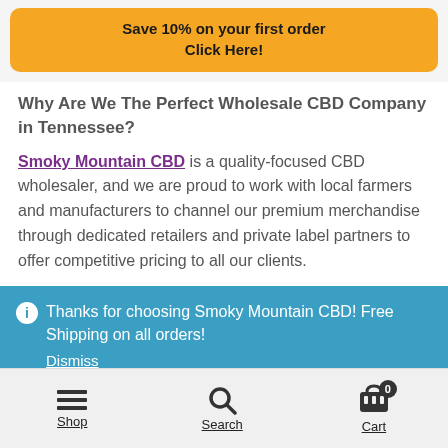Save 10% on your first order
Click Here!
Why Are We The Perfect Wholesale CBD Company in Tennessee?
Smoky Mountain CBD is a quality-focused CBD wholesaler, and we are proud to work with local farmers and manufacturers to channel our premium merchandise through dedicated retailers and private label partners to offer competitive pricing to all our clients.
Thanks for choosing Smoky Mountain CBD! Free Shipping on all orders!
Dismiss
Shop | Search | Cart